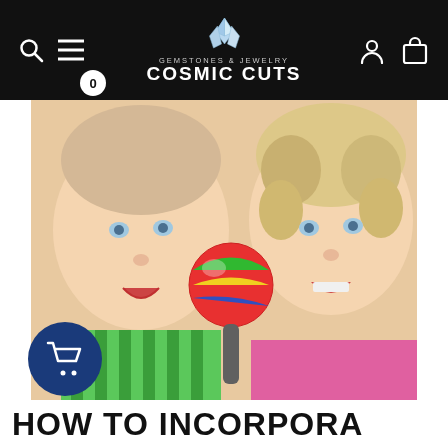GEMSTONES & JEWELRY COSMIC CUTS
[Figure (photo): Two young smiling children lying down, one holding a colorful maraca toy. The child on the left wears a green striped shirt, the child on the right has curly blond hair.]
HOW TO INCORPORA...